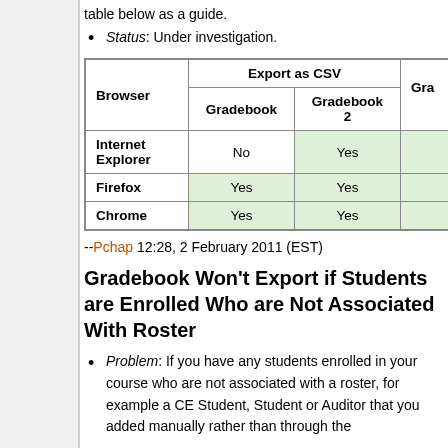table below as a guide.
Status: Under investigation.
| Browser | Export as CSV – Gradebook | Export as CSV – Gradebook 2 | Export as CSV – Gra... |
| --- | --- | --- | --- |
| Internet Explorer | No | Yes |  |
| Firefox | Yes | Yes |  |
| Chrome | Yes | Yes |  |
--Pchap 12:28, 2 February 2011 (EST)
Gradebook Won't Export if Students are Enrolled Who are Not Associated With Roster
Problem: If you have any students enrolled in your course who are not associated with a roster, for example a CE Student, Student or Auditor that you added manually rather than through the